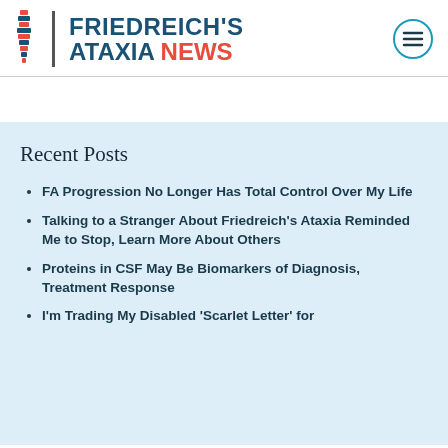[Figure (logo): Friedreich's Ataxia News logo with spine icon, vertical divider, and site name in dark blue with NEWS in red]
Recent Posts
FA Progression No Longer Has Total Control Over My Life
Talking to a Stranger About Friedreich's Ataxia Reminded Me to Stop, Learn More About Others
Proteins in CSF May Be Biomarkers of Diagnosis, Treatment Response
I'm Trading My Disabled 'Scarlet Letter' for